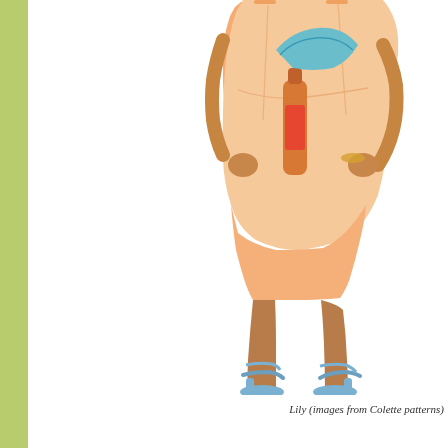[Figure (photo): A woman wearing a peach/orange sleeveless dress holding a bottle, wearing blue heeled sandals, photographed from the neck down on a white background. The image is cropped on the right side of the page.]
Lily (images from Colette patterns)